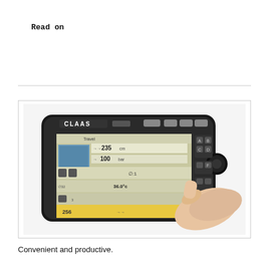Read on
[Figure (photo): A CLAAS handheld terminal/display device being held by a hand, showing a digital screen with farming/harvesting data including numbers 235, 100, 36.0°c, 256, and various icons and controls. The device has buttons labeled A, B, C, D, E, F and a CLAAS logo on top.]
Convenient and productive.